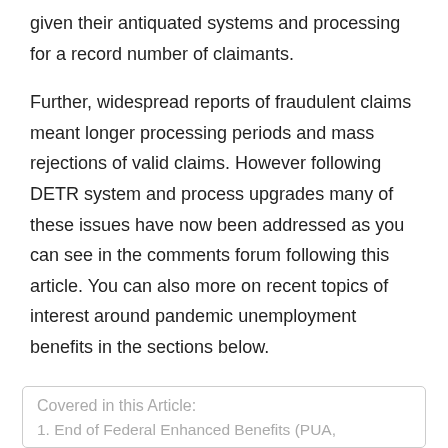given their antiquated systems and processing for a record number of claimants.
Further, widespread reports of fraudulent claims meant longer processing periods and mass rejections of valid claims. However following DETR system and process upgrades many of these issues have now been addressed as you can see in the comments forum following this article. You can also more on recent topics of interest around pandemic unemployment benefits in the sections below.
Covered in this Article:
1. End of Federal Enhanced Benefits (PUA,